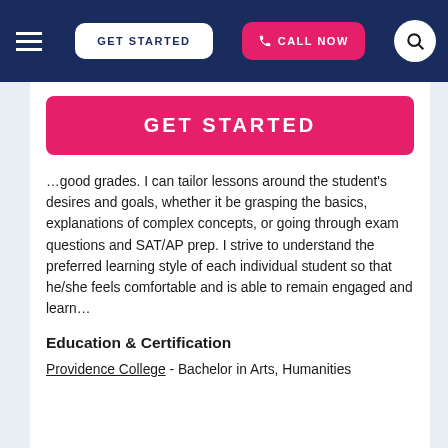GET STARTED  CALL NOW
[Figure (screenshot): Pink GET STARTED button]
…good grades. I can tailor lessons around the student's desires and goals, whether it be grasping the basics, explanations of complex concepts, or going through exam questions and SAT/AP prep. I strive to understand the preferred learning style of each individual student so that he/she feels comfortable and is able to remain engaged and learn…
Education & Certification
Providence College - Bachelor in Arts, Humanities